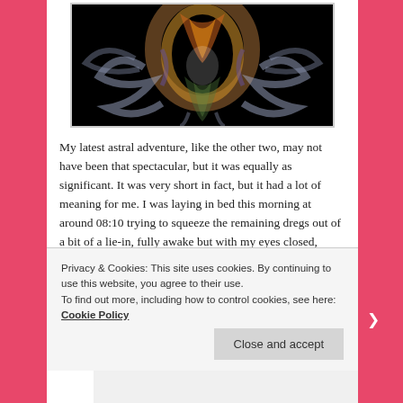[Figure (photo): Abstract smoke art on dark/black background — colourful swirling smoke shapes resembling a figure, with oranges, greens, purples and whites against black.]
My latest astral adventure, like the other two, may not have been that spectacular, but it was equally as significant. It was very short in fact, but it had a lot of meaning for me. I was laying in bed this morning at around 08:10 trying to squeeze the remaining dregs out of a bit of a lie-in, fully awake but with my eyes closed, when all of a sudden my third eye became illuminated. When I
Privacy & Cookies: This site uses cookies. By continuing to use this website, you agree to their use.
To find out more, including how to control cookies, see here: Cookie Policy